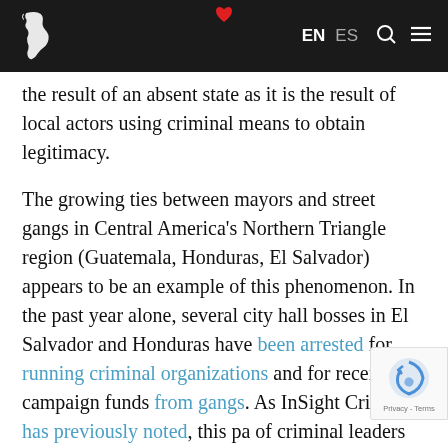EN  ES
the result of an absent state as it is the result of local actors using criminal means to obtain legitimacy.
The growing ties between mayors and street gangs in Central America's Northern Triangle region (Guatemala, Honduras, El Salvador) appears to be an example of this phenomenon. In the past year alone, several city hall bosses in El Salvador and Honduras have been arrested for running criminal organizations and for receiving campaign funds from gangs. As InSight Crime has previously noted, this pa of criminal leaders either influencing the or outright taking over the position has